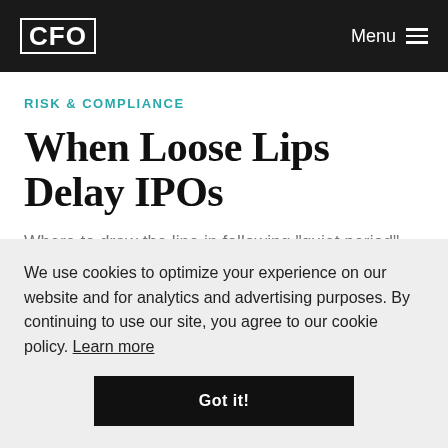CFO | Menu
RISK & COMPLIANCE
When Loose Lips Delay IPOs
Where to draw the line in following "quiet period" restrictions?
George Donnelly
December 1, 1999
We use cookies to optimize your experience on our website and for analytics and advertising purposes. By continuing to use our site, you agree to our cookie policy. Learn more
Got it!